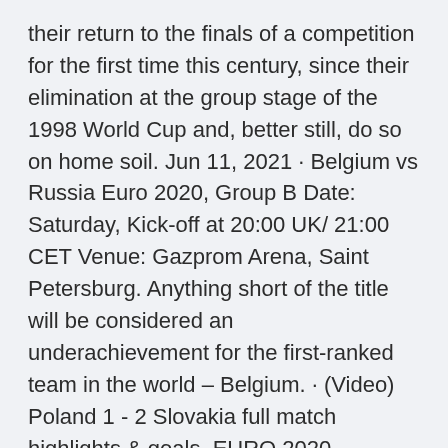their return to the finals of a competition for the first time this century, since their elimination at the group stage of the 1998 World Cup and, better still, do so on home soil. Jun 11, 2021 · Belgium vs Russia Euro 2020, Group B Date: Saturday, Kick-off at 20:00 UK/ 21:00 CET Venue: Gazprom Arena, Saint Petersburg. Anything short of the title will be considered an underachievement for the first-ranked team in the world – Belgium. · (Video) Poland 1 - 2 Slovakia full match highlights & goals ,EURO 2020 Highlights 14/06/2021 Video Poland vs Slovakia ,EURO 2020 Highlights, Watch goals and highlights EURO 2020 . Jun 13, 2021 · The starting lineups for Poland and Slovakia have been revealed.
2.7m members in the soccer community. The football